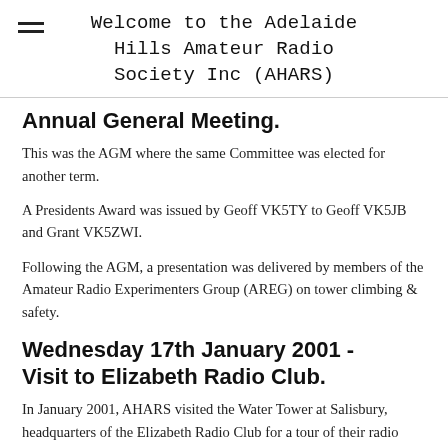Welcome to the Adelaide Hills Amateur Radio Society Inc (AHARS)
Annual General Meeting.
This was the AGM where the same Committee was elected for another term.
A Presidents Award was issued by Geoff VK5TY to Geoff VK5JB and Grant VK5ZWI.
Following the AGM, a presentation was delivered by members of the Amateur Radio Experimenters Group (AREG) on tower climbing & safety.
Wednesday 17th January 2001 - Visit to Elizabeth Radio Club.
In January 2001, AHARS visited the Water Tower at Salisbury, headquarters of the Elizabeth Radio Club for a tour of their radio